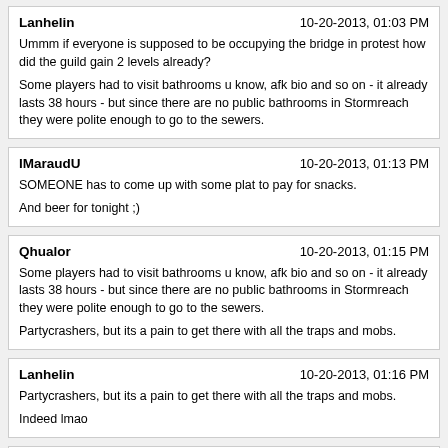Lanhelin | 10-20-2013, 01:03 PM
Ummm if everyone is supposed to be occupying the bridge in protest how did the guild gain 2 levels already?

Some players had to visit bathrooms u know, afk bio and so on - it already lasts 38 hours - but since there are no public bathrooms in Stormreach they were polite enough to go to the sewers.
IMaraudU | 10-20-2013, 01:13 PM
SOMEONE has to come up with some plat to pay for snacks.

And beer for tonight ;)
Qhualor | 10-20-2013, 01:15 PM
Some players had to visit bathrooms u know, afk bio and so on - it already lasts 38 hours - but since there are no public bathrooms in Stormreach they were polite enough to go to the sewers.

Partycrashers, but its a pain to get there with all the traps and mobs.
Lanhelin | 10-20-2013, 01:16 PM
Partycrashers, but its a pain to get there with all the traps and mobs.

Indeed lmao
Krelar | 10-20-2013, 01:47 PM
btw the rumor goes, that Turbine actually is preparing a statement related to the TR changes, which shall be published on Tuesday. So the bridge event will